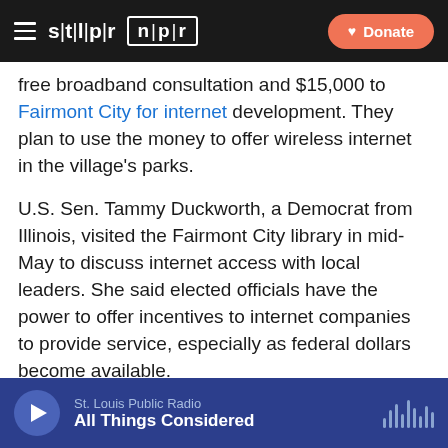STLPR NPR — Donate
free broadband consultation and $15,000 to Fairmont City for internet development. They plan to use the money to offer wireless internet in the village's parks.
U.S. Sen. Tammy Duckworth, a Democrat from Illinois, visited the Fairmont City library in mid-May to discuss internet access with local leaders. She said elected officials have the power to offer incentives to internet companies to provide service, especially as federal dollars become available.
“They’re going to get a lot of money, right?” Duckworth said. “They stand to make a lot of money because of this initiative. But they don’t want to come here because they
St. Louis Public Radio — All Things Considered